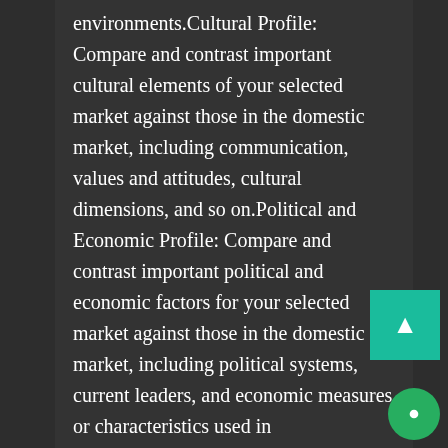environments.Cultural Profile: Compare and contrast important cultural elements of your selected market against those in the domestic market, including communication, values and attitudes, cultural dimensions, and so on.Political and Economic Profile: Compare and contrast important political and economic factors for your selected market against those in the domestic market, including political systems, current leaders, and economic measures or characteristics used in classification.Legal and Regulatory Profile: Compare and contrast important legal and regulatory requirements of your selected market against those in the domestic market, including trade